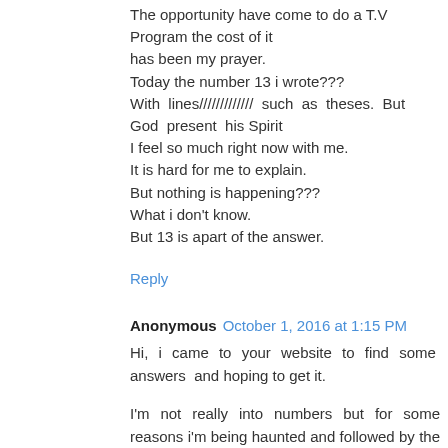The opportunity have come to do a T.V
Program the cost of it
has been my prayer.
Today the number 13 i wrote???
With lines///////////// such as theses. But God present his Spirit
I feel so much right now with me.
It is hard for me to explain.
But nothing is happening???
What i don't know.
But 13 is apart of the answer.
Reply
Anonymous  October 1, 2016 at 1:15 PM
Hi, i came to your website to find some answers and hoping to get it.

I'm not really into numbers but for some reasons i'm being haunted and followed by the number 13. It all started when i started to see my friend 8...